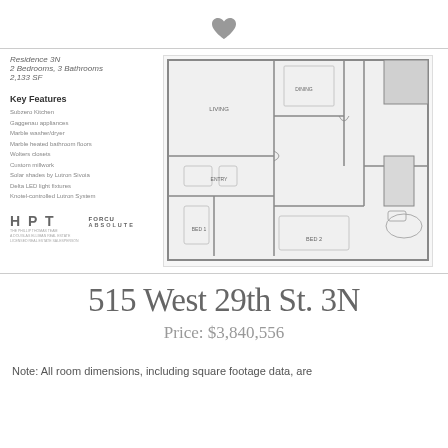[Figure (other): Heart/favorite icon at top center of page]
Residence 3N
2 Bedrooms, 3 Bathrooms
2,133 SF
Key Features
Subzero Kitchen
Gaggenau appliances
Marble washer/dryer
Marble heated bathroom floors
Wolters closets
Custom millwork
Solar shades by Lutron Sivoia
Delta LED light fixtures
Knotel-controlled Lutron System
[Figure (other): Floor plan diagram of Residence 3N, 2 Bedrooms, 3 Bathrooms, 2,133 SF]
[Figure (logo): HPT and FORCU ABSOLUTE logos]
515 West 29th St. 3N
Price: $3,840,556
Note: All room dimensions, including square footage data, are